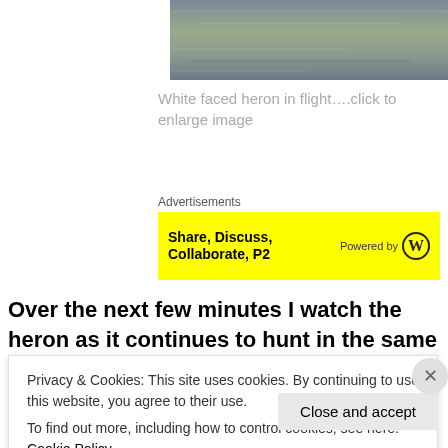[Figure (photo): Top strip of a photo showing water/river surface with rippled texture and muted blue-brown tones]
White faced heron in flight….click to enlarge image
Advertisements
[Figure (other): Yellow advertisement banner reading 'Share, Discuss, Collaborate, P2' with WordPress 'Powered by' logo on right]
Over the next few minutes I watch the heron as it continues to hunt in the same area. I am trying to
Privacy & Cookies: This site uses cookies. By continuing to use this website, you agree to their use.
To find out more, including how to control cookies, see here: Cookie Policy
Close and accept